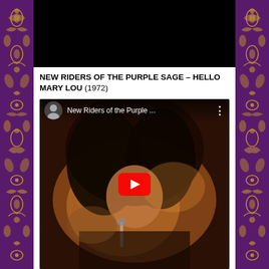[Figure (screenshot): Black video player area (top, mostly black/dark)]
NEW RIDERS OF THE PURPLE SAGE – HELLO MARY LOU (1972)
[Figure (screenshot): YouTube video thumbnail showing New Riders of the Purple Sage – Hello Mary Lou, with performer with long dark hair singing into microphone, YouTube play button overlay, and channel avatar in top-left corner with title text 'New Riders of the Purple ...']